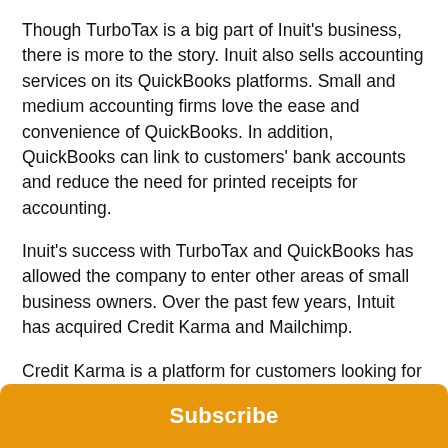Though TurboTax is a big part of Inuit's business, there is more to the story. Inuit also sells accounting services on its QuickBooks platforms. Small and medium accounting firms love the ease and convenience of QuickBooks. In addition, QuickBooks can link to customers' bank accounts and reduce the need for printed receipts for accounting.
Inuit's success with TurboTax and QuickBooks has allowed the company to enter other areas of small business owners. Over the past few years, Intuit has acquired Credit Karma and Mailchimp.
Credit Karma is a platform for customers looking for auto loans, home mortgages, credit cards and other loans. Mailchimp is an online email marketing service offered to small and medium businesses.
Subscribe